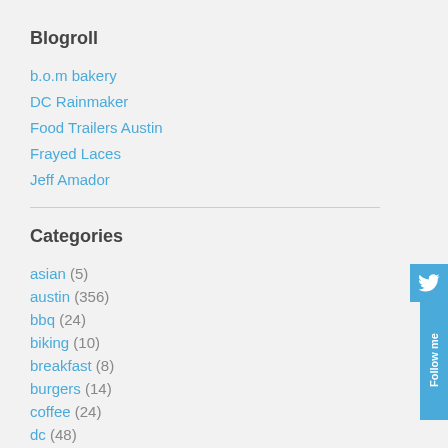Blogroll
b.o.m bakery
DC Rainmaker
Food Trailers Austin
Frayed Laces
Jeff Amador
Categories
asian (5)
austin (356)
bbq (24)
biking (10)
breakfast (8)
burgers (14)
coffee (24)
dc (48)
dessert (34)
florida (3)
food truck (144)
general (29)
hot dogs (6)